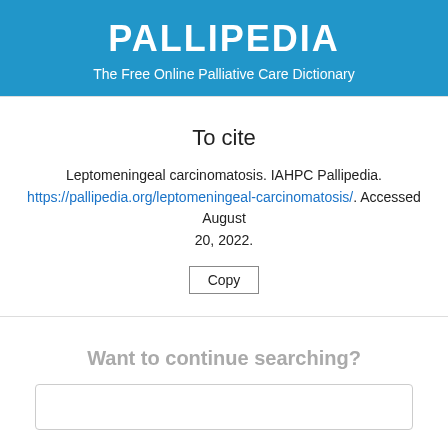PALLIPEDIA
The Free Online Palliative Care Dictionary
To cite
Leptomeningeal carcinomatosis. IAHPC Pallipedia. https://pallipedia.org/leptomeningeal-carcinomatosis/. Accessed August 20, 2022.
Copy
Want to continue searching?